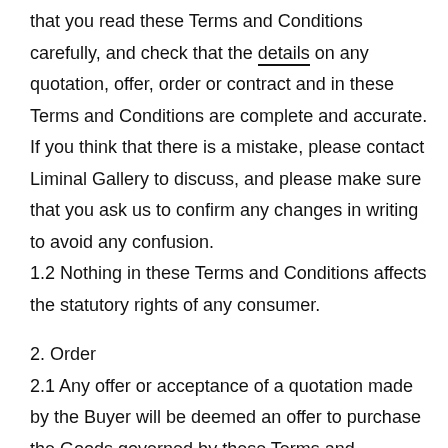that you read these Terms and Conditions carefully, and check that the details on any quotation, offer, order or contract and in these Terms and Conditions are complete and accurate. If you think that there is a mistake, please contact Liminal Gallery to discuss, and please make sure that you ask us to confirm any changes in writing to avoid any confusion.
1.2 Nothing in these Terms and Conditions affects the statutory rights of any consumer.
2. Order
2.1 Any offer or acceptance of a quotation made by the Buyer will be deemed an offer to purchase the Goods governed by these Terms and Conditions.